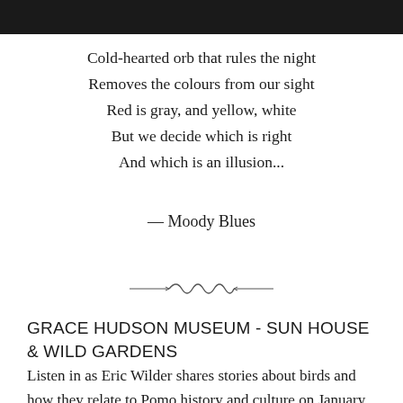[Figure (photo): Dark photograph strip at the top of the page]
Cold-hearted orb that rules the night
Removes the colours from our sight
Red is gray, and yellow, white
But we decide which is right
And which is an illusion...
— Moody Blues
[Figure (illustration): Decorative ornamental divider with wave/scroll design]
GRACE HUDSON MUSEUM - SUN HOUSE & WILD GARDENS
Listen in as Eric Wilder shares stories about birds and how they relate to Pomo history and culture on January 20th at 7pm! Eric Wilder is a Kashia Tribal Member and